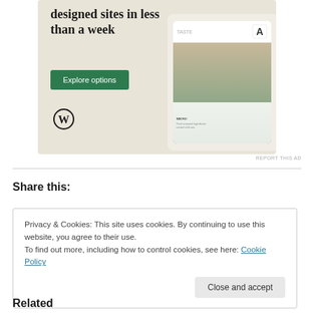[Figure (screenshot): WordPress advertisement showing 'Professionally designed sites in less than a week' with an Explore options button, WordPress logo, and website mockup screenshots on a beige background.]
REPORT THIS AD
Share this:
Privacy & Cookies: This site uses cookies. By continuing to use this website, you agree to their use.
To find out more, including how to control cookies, see here: Cookie Policy
Close and accept
Related